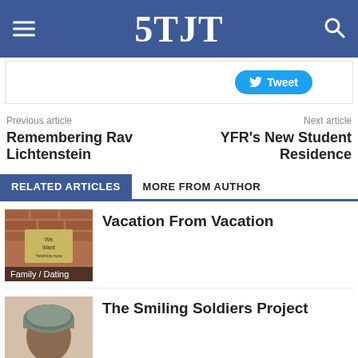5TJT
[Figure (screenshot): Tweet button area with white background and Twitter Tweet button]
Previous article
Next article
Remembering Rav Lichtenstein
YFR's New Student Residence
RELATED ARTICLES
MORE FROM AUTHOR
[Figure (photo): Photo of a brick wall with a sign reading 'We Want Yeshiva Now', with caption overlay 'Family / Dating']
Vacation From Vacation
[Figure (photo): Photo of a person wearing a military helmet]
The Smiling Soldiers Project